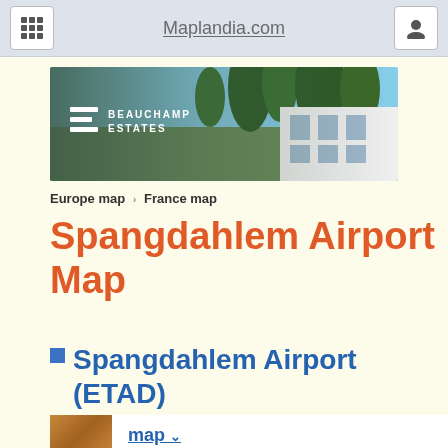Maplandia.com
[Figure (photo): Beauchamp Estates banner ad showing a luxury villa with trees in background]
Europe map > France map
Spangdahlem Airport Map
Spangdahlem Airport (ETAD)
map
hotel
car rental